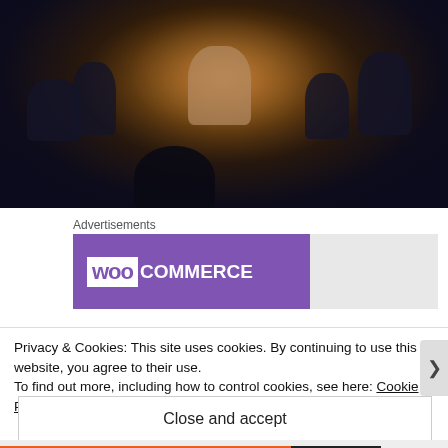[Figure (photo): Dark vintage photograph of a group of people gathered around a desk or table in a dimly lit room. A central figure sits behind the desk, appearing to be speaking or leading the group. Silhouettes of multiple people are visible on both sides. Warm amber/brown tones at center contrast with dark edges.]
Advertisements
[Figure (logo): WooCommerce logo banner — purple background with white WooCommerce text where 'woo' appears in a white box with purple text and 'COMMERCE' in white capital letters next to it.]
Privacy & Cookies: This site uses cookies. By continuing to use this website, you agree to their use.
To find out more, including how to control cookies, see here: Cookie Policy
Close and accept